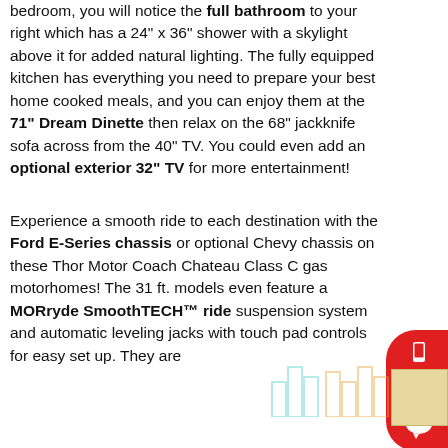bedroom, you will notice the full bathroom to your right which has a 24" x 36" shower with a skylight above it for added natural lighting. The fully equipped kitchen has everything you need to prepare your best home cooked meals, and you can enjoy them at the 71" Dream Dinette then relax on the 68" jackknife sofa across from the 40" TV. You could even add an optional exterior 32" TV for more entertainment!
Experience a smooth ride to each destination with the Ford E-Series chassis or optional Chevy chassis on these Thor Motor Coach Chateau Class C gas motorhomes! The 31 ft. models even feature a MORryde SmoothTECH™ ride suspension system and automatic leveling jacks with touch pad controls for easy set up. They are
[Figure (other): Red sidebar button with phone icon labeled 'Text Us' and a chat bubble icon below]